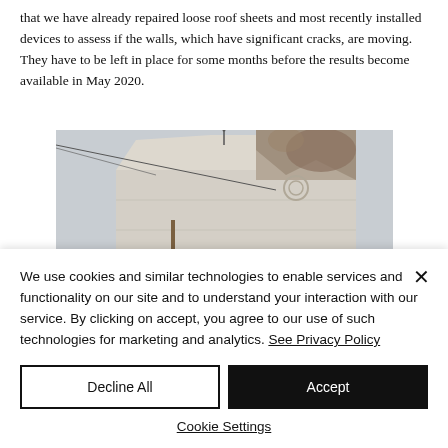that we have already repaired loose roof sheets and most recently installed devices to assess if the walls, which have significant cracks, are moving. They have to be left in place for some months before the results become available in May 2020.
[Figure (photo): Photograph of a deteriorating building facade showing cracked and weathered masonry on the upper corner of a structure, with scaffolding or a railing visible at the bottom of the image, shot against an overcast sky.]
We use cookies and similar technologies to enable services and functionality on our site and to understand your interaction with our service. By clicking on accept, you agree to our use of such technologies for marketing and analytics. See Privacy Policy
Decline All
Accept
Cookie Settings